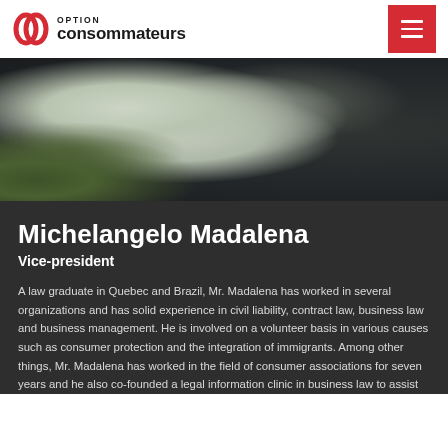[Figure (logo): Option Consommateurs logo with stylized OC icon and text]
[Figure (photo): Profile photo of Michelangelo Madalena — partial view of a person in a dark suit with light shirt, green foliage visible at lower left]
Michelangelo Madalena
Vice-president
A law graduate in Quebec and Brazil, Mr. Madalena has worked in several organizations and has solid experience in civil liability, contract law, business law and business management. He is involved on a volunteer basis in various causes such as consumer protection and the integration of immigrants. Among other things, Mr. Madalena has worked in the field of consumer associations for seven years and he also co-founded a legal information clinic in business law to assist